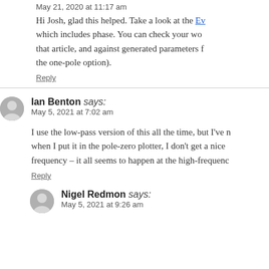May 21, 2020 at 11:17 am
Hi Josh, glad this helped. Take a look at the Ev... which includes phase. You can check your wo... that article, and against generated parameters f... the one-pole option).
Reply
Ian Benton says:
May 5, 2021 at 7:02 am
I use the low-pass version of this all the time, but I've n... when I put it in the pole-zero plotter, I don't get a nice ... frequency – it all seems to happen at the high-frequenc...
Reply
Nigel Redmon says:
May 5, 2021 at 9:26 am